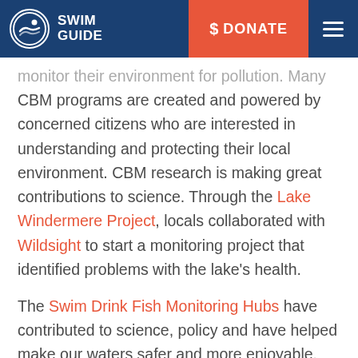SWIM GUIDE | $ DONATE
monitor their environment for pollution. Many CBM programs are created and powered by concerned citizens who are interested in understanding and protecting their local environment. CBM research is making great contributions to science. Through the Lake Windermere Project, locals collaborated with Wildsight to start a monitoring project that identified problems with the lake's health.
The Swim Drink Fish Monitoring Hubs have contributed to science, policy and have helped make our waters safer and more enjoyable. CBM programs are changing the